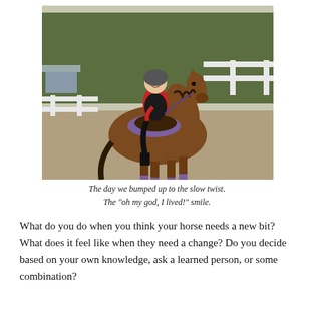[Figure (photo): A rider in a red shirt, black vest, and black pants wearing a helmet sits atop a bay horse with purple leg wraps and purple saddle pad, trotting in a sandy arena with white fence and trees in background. The rider is smiling.]
The day we bumped up to the slow twist.
The "oh my god, I lived!" smile.
What do you do when you think your horse needs a new bit? What does it feel like when they need a change? Do you decide based on your own knowledge, ask a learned person, or some combination?